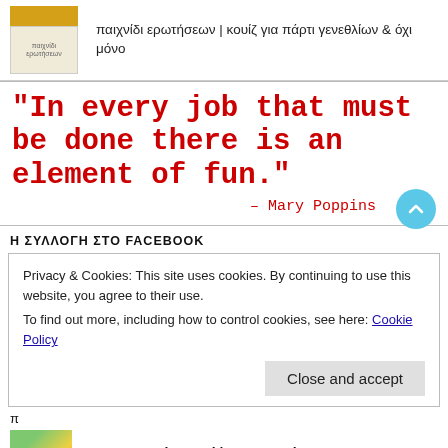[Figure (photo): Thumbnail image of a labeled package/product with orange top portion]
παιχνίδι ερωτήσεων | κουίζ για πάρτι γενεθλίων & όχι μόνο
"In every job that must be done there is an element of fun."
– Mary Poppins
Η ΣΥΛΛΟΓΗ ΣΤΟ FACEBOOK
Privacy & Cookies: This site uses cookies. By continuing to use this website, you agree to their use.
To find out more, including how to control cookies, see here: Cookie Policy
π
Close and accept
[Figure (photo): Thumbnail of colorful monster amigurumi crochet figure]
Monster Amigurumi | Free Crochet Pattern